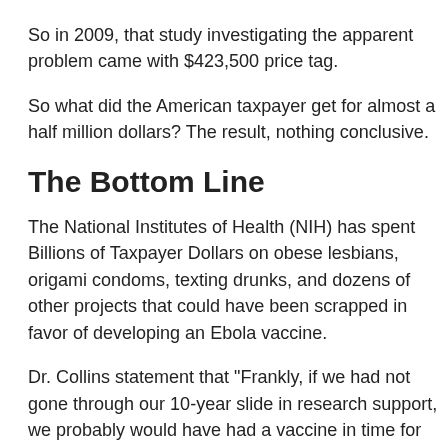So in 2009, that study investigating the apparent problem came with $423,500 price tag.
So what did the American taxpayer get for almost a half million dollars? The result, nothing conclusive.
The Bottom Line
The National Institutes of Health (NIH) has spent Billions of Taxpayer Dollars on obese lesbians, origami condoms, texting drunks, and dozens of other projects that could have been scrapped in favor of developing an Ebola vaccine.
Dr. Collins statement that "Frankly, if we had not gone through our 10-year slide in research support, we probably would have had a vaccine in time for this that would've gone through clinical trials and would have been ready" is just pure political bullshit!
Taxpayers have spent $466,642 on "Why fat girls have a